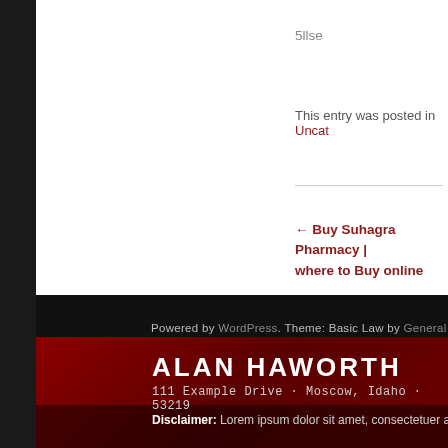5llse
This entry was posted in Uncat
← Buy Suhagra Pharmacy | where to Buy online
Powered by WordPress. Theme: Basic Law by General Themes.
ALAN HAWORTH
111 Example Drive · Moscow, Idaho · 53219
Disclaimer: Lorem ipsum dolor sit amet, consectetuer adipiscing elit. A